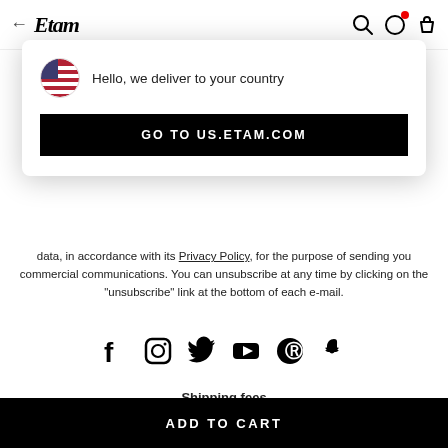← Etam [nav icons]
[Figure (screenshot): Modal popup: US flag icon, text 'Hello, we deliver to your country', and a black button 'GO TO US.ETAM.COM']
data, in accordance with its Privacy Policy, for the purpose of sending you commercial communications. You can unsubscribe at any time by clicking on the "unsubscribe" link at the bottom of each e-mail.
[Figure (infographic): Row of social media icons: Facebook, Instagram, Twitter, YouTube, Pinterest, Snapchat]
Shipping fees
Depends on the country of destination. Please check your basket for
ADD TO CART